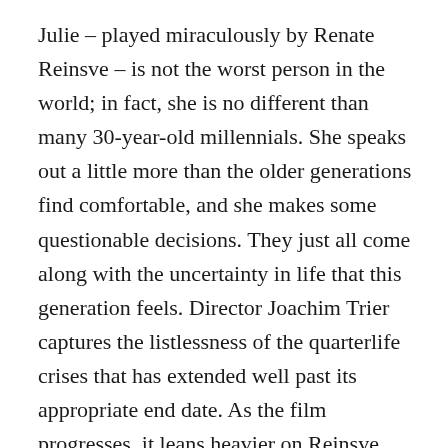Julie – played miraculously by Renate Reinsve – is not the worst person in the world; in fact, she is no different than many 30-year-old millennials. She speaks out a little more than the older generations find comfortable, and she makes some questionable decisions. They just all come along with the uncertainty in life that this generation feels. Director Joachim Trier captures the listlessness of the quarterlife crises that has extended well past its appropriate end date. As the film progresses, it leans heavier on Reinsve. The emotions become stronger as her life becomes more complicated and Reinsve delivers at every moment.
All Light, Everywhere (2021, Dir. Theo Anthony)